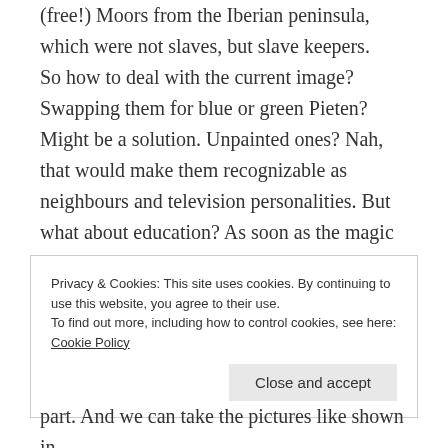(free!) Moors from the Iberian peninsula, which were not slaves, but slave keepers. So how to deal with the current image? Swapping them for blue or green Pieten? Might be a solution. Unpainted ones? Nah, that would make them recognizable as neighbours and television personalities. But what about education? As soon as the magic has worn off, we can use Sinterklaas and Zwarte Piet to walk through history, explain who they were, and how he evolved to what they are. As a freer of slaves we can use Sinterklaas to stress how
Privacy & Cookies: This site uses cookies. By continuing to use this website, you agree to their use.
To find out more, including how to control cookies, see here: Cookie Policy
part. And we can take the pictures like shown in